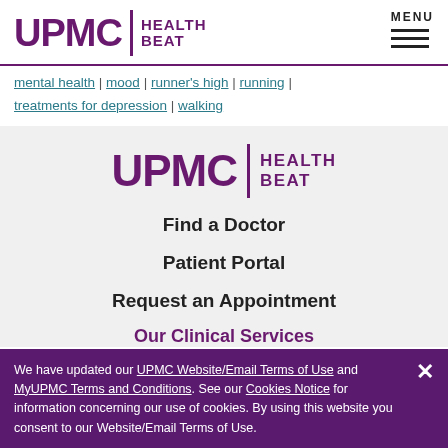[Figure (logo): UPMC Health Beat logo in purple with text UPMC and HEALTH BEAT separated by a vertical bar]
mental health | mood | runner's high | running | treatments for depression | walking
[Figure (logo): UPMC Health Beat logo centered, larger version in purple]
Find a Doctor
Patient Portal
Request an Appointment
Our Clinical Services
We have updated our UPMC Website/Email Terms of Use and MyUPMC Terms and Conditions. See our Cookies Notice for information concerning our use of cookies. By using this website you consent to our Website/Email Terms of Use.